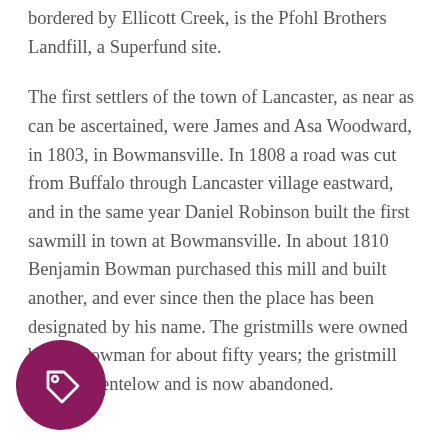bordered by Ellicott Creek, is the Pfohl Brothers Landfill, a Superfund site.
The first settlers of the town of Lancaster, as near as can be ascertained, were James and Asa Woodward, in 1803, in Bowmansville. In 1808 a road was cut from Buffalo through Lancaster village eastward, and in the same year Daniel Robinson built the first sawmill in town at Bowmansville. In about 1810 Benjamin Bowman purchased this mill and built another, and ever since then the place has been designated by his name. The gristmills were owned by the Bowman for about fifty years; the gristmill passed to entelow and is now abandoned.